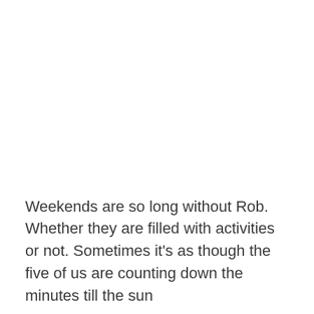Weekends are so long without Rob. Whether they are filled with activities or not. Sometimes it's as though the five of us are counting down the minutes till the sun